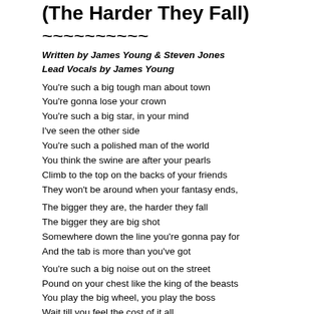(The Harder They Fall)
~~~~~~~~~~
Written by James Young & Steven Jones
Lead Vocals by James Young
You're such a big tough man about town
You're gonna lose your crown
You're such a big star, in your mind
I've seen the other side
You're such a polished man of the world
You think the swine are after your pearls
Climb to the top on the backs of your friends
They won't be around when your fantasy ends,
The bigger they are, the harder they fall
The bigger they are big shot
Somewhere down the line you're gonna pay for
And the tab is more than you've got
You're such a big noise out on the street
Pound on your chest like the king of the beasts
You play the big wheel, you play the boss
Wait till you feel the cost of it all